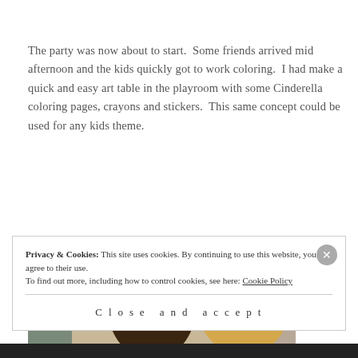The party was now about to start.  Some friends arrived mid afternoon and the kids quickly got to work coloring.  I had make a quick and easy art table in the playroom with some Cinderella coloring pages, crayons and stickers.  This same concept could be used for any kids theme.
[Figure (photo): Two young girls with hair accessories coloring at a table, viewed from behind. One has a teal bow, the other a red bow on a headband.]
The invite eluded
Privacy & Cookies: This site uses cookies. By continuing to use this website, you agree to their use.
To find out more, including how to control cookies, see here: Cookie Policy
Close and accept